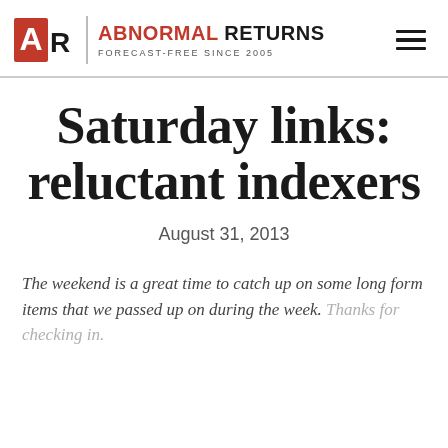ABNORMAL RETURNS — FORECAST-FREE SINCE 2005
Saturday links: reluctant indexers
August 31, 2013
The weekend is a great time to catch up on some long form items that we passed up on during the week. Thanks for checking in.